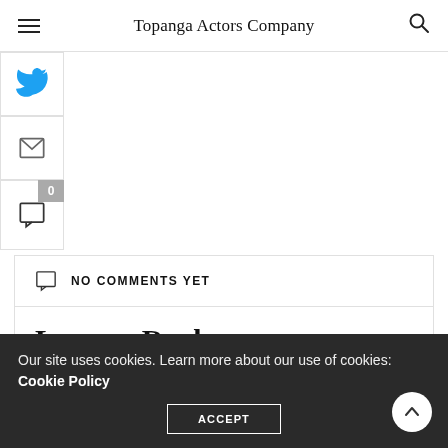Topanga Actors Company
[Figure (other): Twitter share button with blue bird icon]
[Figure (other): Email share button with envelope icon]
[Figure (other): Comment button with badge showing 0 comments]
NO COMMENTS YET
Leave a Reply
Your email address will not be published.
Our site uses cookies. Learn more about our use of cookies: Cookie Policy
ACCEPT